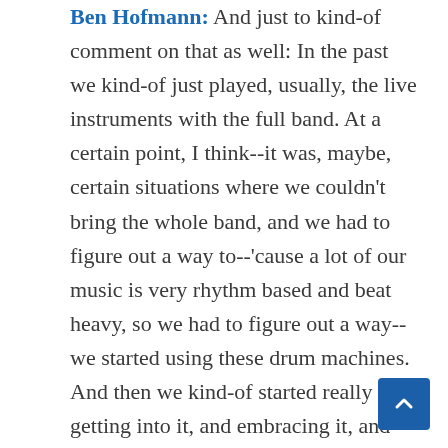Ben Hofmann: And just to kind-of comment on that as well: In the past we kind-of just played, usually, the live instruments with the full band. At a certain point, I think--it was, maybe, certain situations where we couldn't bring the whole band, and we had to figure out a way to--'cause a lot of our music is very rhythm based and beat heavy, so we had to figure out a way--we started using these drum machines. And then we kind-of started really getting into it, and embracing it, and moving away from the live sound a little bit to where it was all drum machines when we play duo, and do some of